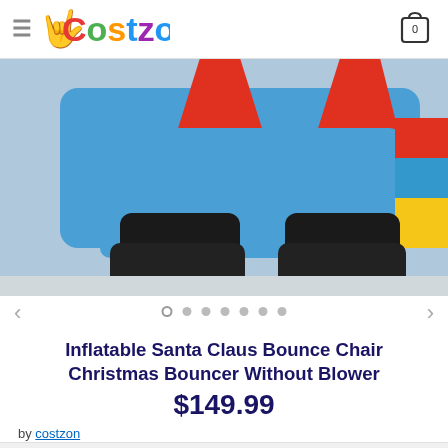Costzon
[Figure (photo): Partial view of a colorful inflatable Santa Claus bounce chair/bouncer showing blue inflatable body with red accents and two black boot-shaped bases at the bottom.]
Inflatable Santa Claus Bounce Chair Christmas Bouncer Without Blower $149.99
by costzon